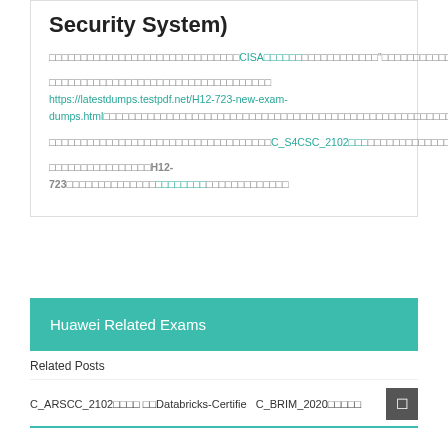Security System)
□□□□□□□□□□□□□□□□□□□□□□□□□□□□□□CISA□□□□□□□□□□□□"□□□□□□□□□□□□□□□□□□□□□□□□□□□□□□□□□□□□□□□□□□□□□□□
□□□□□□□□□□□□□□□□□□□□□□□□□□□□□□□□□□□ https://latestdumps.testpdf.net/H12-723-new-exam-dumps.html□□□□□□□□□□□□□□□□□□□□□□□□□□□□□□□□□□□□□□□□□□□□□□□□□□□□□
□□□□□□□□□□□□□□□□□□□□□□□□□□□□□□□□□□□C_S4CSC_2102□□□□□□□□□□□□□□□□□□□□□□□□□□□□□□□□□□□□□□□□□□□□□□□□□□□□□□
□□□□□□□□□□□□□□□H12-723□□□□□□□□□□□□□□□□□□□□□□□□□□□□□□□□□□□
Huawei Related Exams
Related Posts
C_ARSCC_2102□□□□ □□Databricks-Certifie C_BRIM_2020□□□□□